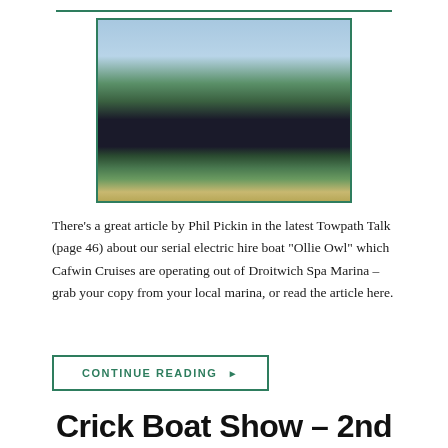[Figure (photo): A narrowboat moored along a canal bank with green grass and trees in the background under a partly cloudy sky.]
There's a great article by Phil Pickin in the latest Towpath Talk (page 46) about our serial electric hire boat “Ollie Owl” which Cafwin Cruises are operating out of Droitwich Spa Marina – grab your copy from your local marina, or read the article here.
CONTINUE READING ►
Crick Boat Show – 2nd